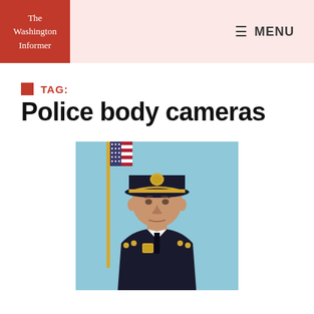The Washington Informer
TAG: Police body cameras
[Figure (photo): Official portrait photo of a police chief or senior police officer in dress uniform with gold-badge cap, white shirt, dark jacket with gold insignia, American flag in background, against light blue background]